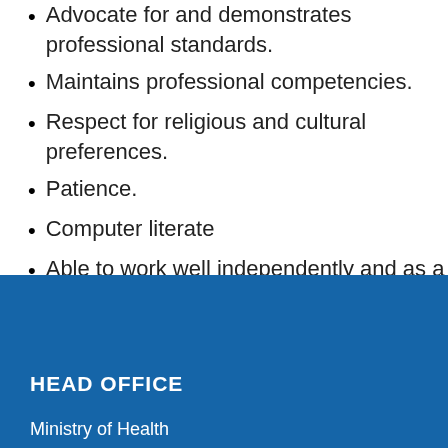Advocate for and demonstrates professional standards.
Maintains professional competencies.
Respect for religious and cultural preferences.
Patience.
Computer literate
Able to work well independently and as a team member.
HEAD OFFICE
Ministry of Health